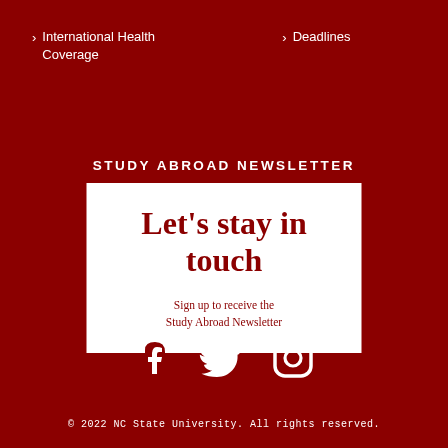> International Health Coverage
> Deadlines
STUDY ABROAD NEWSLETTER
[Figure (infographic): White box with heading 'Let's stay in touch' and subtext 'Sign up to receive the Study Abroad Newsletter']
[Figure (infographic): Social media icons: Facebook, Twitter, Instagram in white on dark red background]
© 2022 NC State University. All rights reserved.